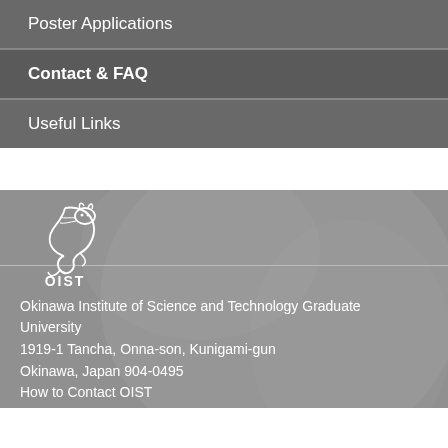Poster Applications
Contact & FAQ
Useful Links
[Figure (logo): OIST logo with stylized dragon/shisa emblem above text 'OIST', white on grey background]
Okinawa Institute of Science and Technology Graduate University
1919-1 Tancha, Onna-son, Kunigami-gun
Okinawa, Japan 904-0495
How to Contact OIST